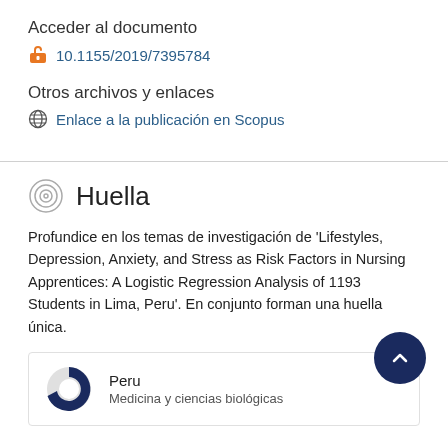Acceder al documento
10.1155/2019/7395784
Otros archivos y enlaces
Enlace a la publicación en Scopus
Huella
Profundice en los temas de investigación de 'Lifestyles, Depression, Anxiety, and Stress as Risk Factors in Nursing Apprentices: A Logistic Regression Analysis of 1193 Students in Lima, Peru'. En conjunto forman una huella única.
Peru
Medicina y ciencias biológicas